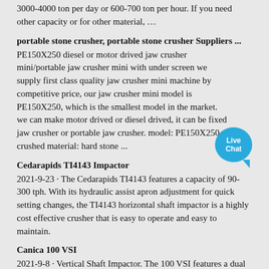3000-4000 ton per day or 600-700 ton per hour. If you need other capacity or for other material, …
portable stone crusher, portable stone crusher Suppliers ...
PE150X250 diesel or motor drived jaw crusher mini/portable jaw crusher mini with under screen we supply first class quality jaw crusher mini machine by competitive price, our jaw crusher mini model is PE150X250, which is the smallest model in the market. we can make motor drived or diesel drived, it can be fixed jaw crusher or portable jaw crusher. model: PE150X250 crushed material: hard stone ...
[Figure (illustration): Live Chat bubble icon in blue]
Cedarapids TI4143 Impactor
2021-9-23 · The Cedarapids TI4143 features a capacity of 90-300 tph. With its hydraulic assist apron adjustment for quick setting changes, the TI4143 horizontal shaft impactor is a highly cost effective crusher that is easy to operate and easy to maintain.
Canica 100 VSI
2021-9-8 · Vertical Shaft Impactor. The 100 VSI features a dual motor drive with a capacity of up to 400 tph (365 mtph) Available in HD (Heavy Duty), HDS (Heavy Duty Sand), ROR (Rock on Rock), and ROS (Rock on Steel) configurations. Contact Us Sign Up Find a Dealer.
Vertical Shaft Impactor Crusher Manufacturer | Propel
Propel Vertical Shaft Impactor produces shapes as per the